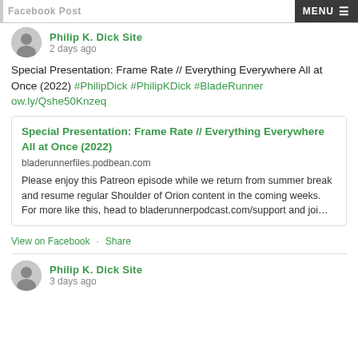Facebook Post
Philip K. Dick Site
2 days ago
Special Presentation: Frame Rate // Everything Everywhere All at Once (2022) #PhilipDick #PhilipKDick #BladeRunner ow.ly/Qshe50Knzeq
Special Presentation: Frame Rate // Everything Everywhere All at Once (2022)
bladerunnerfiles.podbean.com
Please enjoy this Patreon episode while we return from summer break and resume regular Shoulder of Orion content in the coming weeks. For more like this, head to bladerunnerpodcast.com/support and joi...
View on Facebook · Share
Philip K. Dick Site
3 days ago